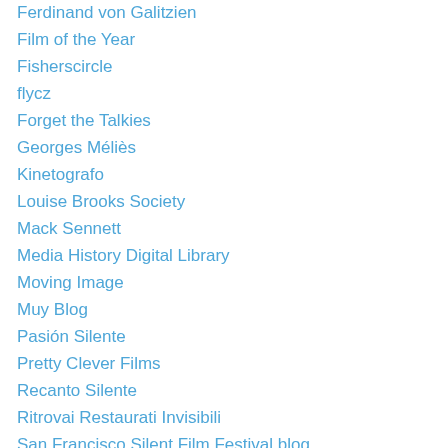Ferdinand von Galitzien
Film of the Year
Fisherscircle
flycz
Forget the Talkies
Georges Méliès
Kinetografo
Louise Brooks Society
Mack Sennett
Media History Digital Library
Moving Image
Muy Blog
Pasión Silente
Pretty Clever Films
Recanto Silente
Ritrovai Restaurati Invisibili
San Francisco Silent Film Festival blog
sempre in penombra
Shadows on the Screen
Silent Film Music